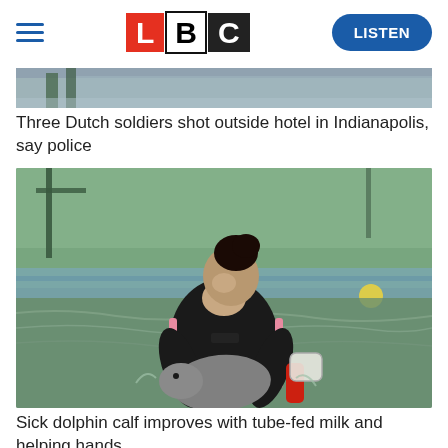[Figure (logo): LBC radio logo with red L, white B (black border), dark grey C blocks]
[Figure (photo): Partial image of a hotel or urban scene, partially cut off at top]
Three Dutch soldiers shot outside hotel in Indianapolis, say police
[Figure (photo): A woman in a black and pink wetsuit stands in a shallow indoor pool holding a small dolphin calf while feeding it milk through a tube bottle. Green netting background.]
Sick dolphin calf improves with tube-fed milk and helping hands